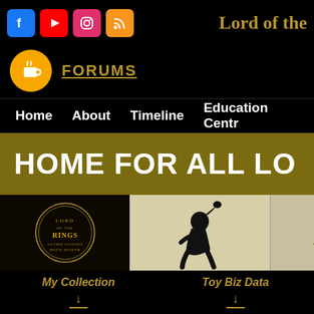[Figure (logo): Social media icons: Facebook (blue), YouTube (red), Instagram (pink/red), RSS (orange)]
Lord of the
[Figure (logo): Orange circle with coffee cup icon for Forums]
FORUMS
Home   About   Timeline   Education Centre
HOME FOR ALL LO
[Figure (logo): Lord of the Rings logo circular badge on dark background]
[Figure (illustration): Black silhouette of Gollum crouching on light background]
FANSITE
A MIDDLE EARTH
My Collection
Toy Biz Data